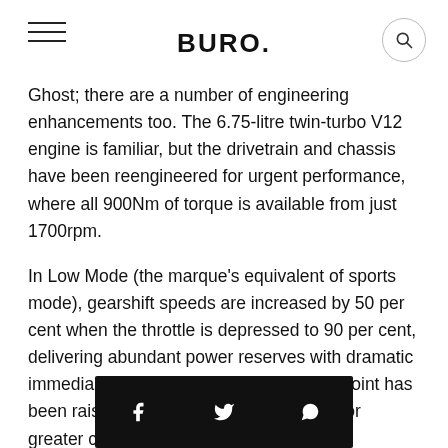BURO.
Ghost; there are a number of engineering enhancements too. The 6.75-litre twin-turbo V12 engine is familiar, but the drivetrain and chassis have been reengineered for urgent performance, where all 900Nm of torque is available from just 1700rpm.
In Low Mode (the marque's equivalent of sports mode), gearshift speeds are increased by 50 per cent when the throttle is depressed to 90 per cent, delivering abundant power reserves with dramatic immediacy. Additionally, the braking bite point has been raised and pedal travel decreased for greater confidence.
[Figure (infographic): Black social sharing bar with Facebook, Twitter, and WhatsApp icons]